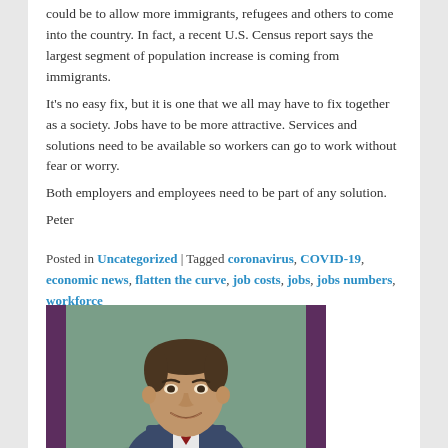could be to allow more immigrants, refugees and others to come into the country. In fact, a recent U.S. Census report says the largest segment of population increase is coming from immigrants.
It's no easy fix, but it is one that we all may have to fix together as a society. Jobs have to be more attractive. Services and solutions need to be available so workers can go to work without fear or worry.
Both employers and employees need to be part of any solution.
Peter
Posted in Uncategorized | Tagged coronavirus, COVID-19, economic news, flatten the curve, job costs, jobs, jobs numbers, workforce
[Figure (photo): Headshot photo of a middle-aged man smiling, with dark hair, wearing a suit, set against a purple/dark background]